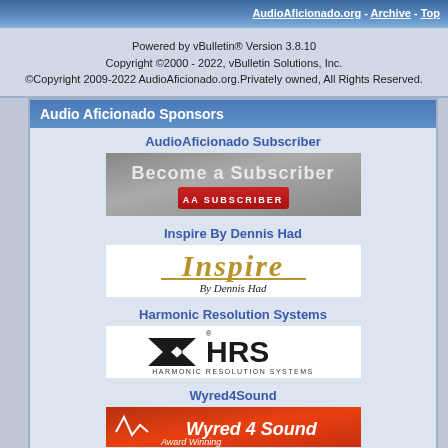AudioAficionado.org - Archive - Top
Powered by vBulletin® Version 3.8.10
Copyright ©2000 - 2022, vBulletin Solutions, Inc.
©Copyright 2009-2022 AudioAficionado.org.Privately owned, All Rights Reserved.
Audio Aficionado Sponsors
AudioAficionado Subscriber
[Figure (illustration): Become a Subscriber banner with AA SUBSCRIBER red button]
Inspire By Dennis Had
[Figure (logo): Inspire By Dennis Had logo with gold stylized text]
Harmonic Resolution Systems
[Figure (logo): HRS Harmonic Resolution Systems logo with arrow and text]
Wyred4Sound
[Figure (illustration): Wyred 4 Sound Award Winning banner with red background]